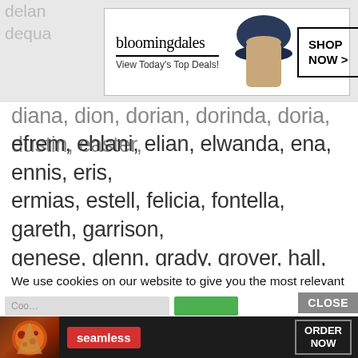[Figure (screenshot): Bloomingdales advertisement banner: logo, 'View Today's Top Deals!', woman with hat, 'SHOP NOW >' button]
delan... dequa... diana, dion, dorian, dorinda, doria, dustin, easter, efrem, ehlani, elian, elwanda, ena, ennis, eris, ermias, estell, felicia, fontella, gareth, garrison, genese, glenn, grady, grover, hall, hanson, harding, harlene, heath, hobart, hoover, ileana, iridian, irvine, isa, isaiah, jacalyn, jaheim, jaiceon, jakwon, jalen, jamaal, jameis, janay, janeth, jareth, jarrell, jaslene, jaymes, jazsmin, jeannine, jere,
We use cookies on our website to give you the most relevant experience by remembering your preferences and repeat visits. By clicking “Accept”, you consent to the use of ALL the cookies.
Do not sell my personal information.
[Figure (screenshot): Bottom ad banner: cookie settings bar with input field and Accept button, CLOSE button, Seamless food delivery ad with pizza image, seamless logo in red, ORDER NOW button]